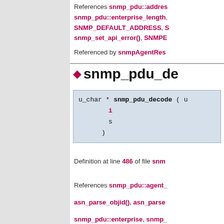References snmp_pdu::address, snmp_pdu::enterprise_length, SNMP_DEFAULT_ADDRESS, snmp_set_api_error(), SNMPE...
Referenced by snmpAgentRes...
◆ snmp_pdu_de...
u_char * snmp_pdu_decode ( u...
                           i...
                           s...
                         )
Definition at line 486 of file snmp...
References snmp_pdu::agent_, asn_parse_objid(), asn_parse..., snmp_pdu::enterprise, snmp_..., MAX_NAME_LEN, snmp_pdu:..., snmp_pdu::reqid, SNMP_PDU..., snmp_pdu::specific_type...